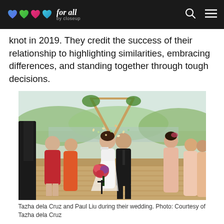LOVE for all by closeup
knot in 2019. They credit the success of their relationship to highlighting similarities, embracing differences, and standing together through tough decisions.
[Figure (photo): Wedding photo of Tazha dela Cruz and Paul Liu walking down the aisle after ceremony, surrounded by guests throwing confetti, outdoors with trees and water in background. A triangular wooden arch is visible behind them. Guests in red and pink dresses are on either side.]
Tazha dela Cruz and Paul Liu during their wedding. Photo: Courtesy of Tazha dela Cruz